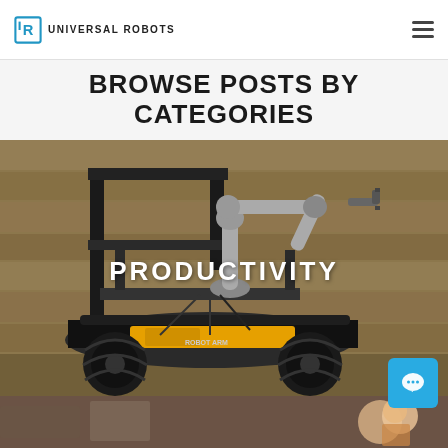UNIVERSAL ROBOTS
BROWSE POSTS BY CATEGORIES
[Figure (photo): A mobile robot platform with a robotic arm (cobot) mounted on top, navigating in a warehouse setting with wooden crates in the background. The robot has large off-road tires and a black metal frame. The word PRODUCTIVITY appears in white text overlaid on the image.]
[Figure (photo): Partial view of a second photo showing what appears to be a person near industrial equipment.]